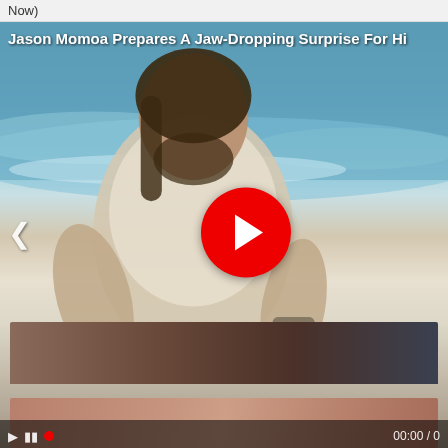Now)
[Figure (screenshot): Video player showing Jason Momoa at beach wearing wet white t-shirt, with large red play button overlay, left navigation arrow, and video controls bar showing 00:00 / 0]
Jason Momoa Prepares A Jaw-Dropping Surprise For Hi…
[Figure (photo): Thumbnail image of advertisement - dark blurred close-up image]
Men, You Don't Need the Blue Pill if You Do This (Watch Video)
NewsGoodTop
[Figure (photo): Bottom thumbnail strip showing close-up skin tone image]